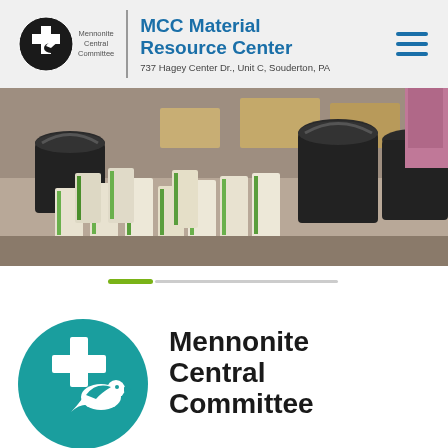MCC Material Resource Center — 737 Hagey Center Dr., Unit C, Souderton, PA
[Figure (photo): Photo of packaged soap bars in plastic bags with green accents, black buckets in background, a person visible at right edge]
[Figure (infographic): Horizontal progress/slider bar with active green segment on left and grey inactive segment on right]
[Figure (logo): Large Mennonite Central Committee teal dove/cross logo with text 'Mennonite Central Committee' in bold black]
Mennonite Central Committee